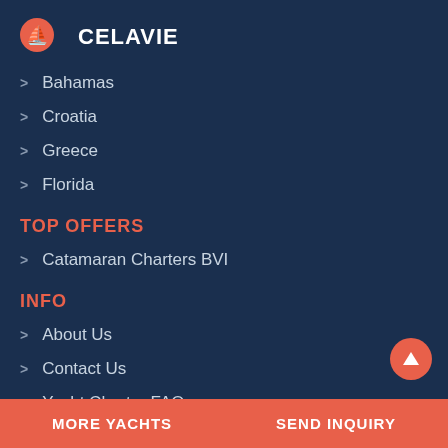CELAVIE
Bahamas
Croatia
Greece
Florida
TOP OFFERS
Catamaran Charters BVI
INFO
About Us
Contact Us
Yacht Charter FAQ
Yacht Rates Explanations
Privacy Policy
MORE YACHTS   SEND INQUIRY